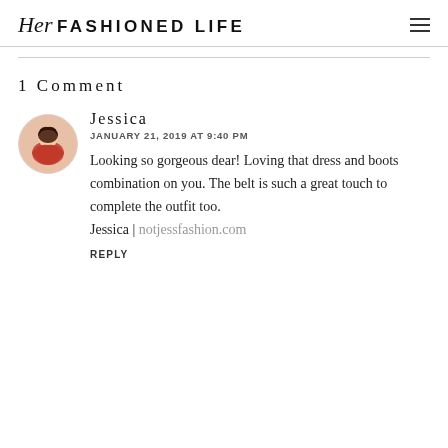Her FASHIONED LIFE
1 Comment
[Figure (photo): Circular avatar photo of Jessica, a young woman in a red outfit with long dark hair]
Jessica
JANUARY 21, 2019 AT 9:40 PM
Looking so gorgeous dear! Loving that dress and boots combination on you. The belt is such a great touch to complete the outfit too.
Jessica | notjessfashion.com
REPLY